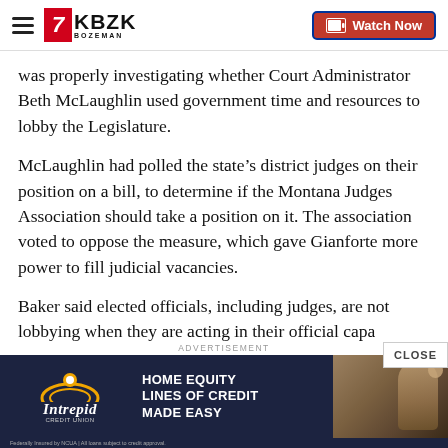KBZK Bozeman — Watch Now
was properly investigating whether Court Administrator Beth McLaughlin used government time and resources to lobby the Legislature.
McLaughlin had polled the state's district judges on their position on a bill, to determine if the Montana Judges Association should take a position on it. The association voted to oppose the measure, which gave Gianforte more power to fill judicial vacancies.
Baker said elected officials, including judges, are not lobbying when they are acting in their official capacity and that McLaughlin had no official contact with any legislators. Baker said the Supreme Court, not a district judge,
[Figure (screenshot): Intrepid Credit Union advertisement banner: Home Equity Lines of Credit Made Easy]